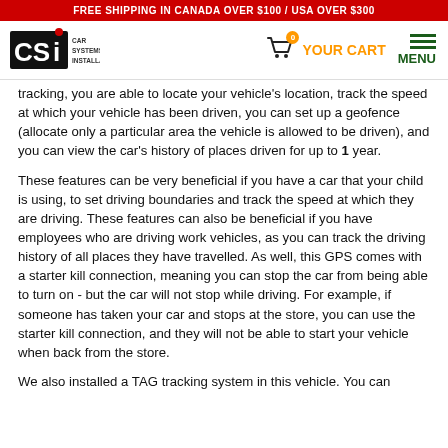FREE SHIPPING IN CANADA OVER $100 / USA OVER $300
[Figure (logo): CSI Car Systems Installation logo with maple leaf and shopping cart with badge showing 0, YOUR CART text in orange, and green MENU with hamburger lines]
tracking, you are able to locate your vehicle's location, track the speed at which your vehicle has been driven, you can set up a geofence (allocate only a particular area the vehicle is allowed to be driven), and you can view the car's history of places driven for up to 1 year.
These features can be very beneficial if you have a car that your child is using, to set driving boundaries and track the speed at which they are driving. These features can also be beneficial if you have employees who are driving work vehicles, as you can track the driving history of all places they have travelled. As well, this GPS comes with a starter kill connection, meaning you can stop the car from being able to turn on - but the car will not stop while driving. For example, if someone has taken your car and stops at the store, you can use the starter kill connection, and they will not be able to start your vehicle when back from the store.
We also installed a TAG tracking system in this vehicle. You can